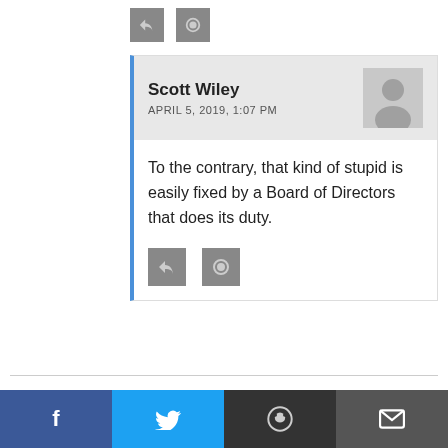[Figure (other): Two small grey icon buttons (reply and link) at the top]
Scott Wiley
APRIL 5, 2019, 1:07 PM
To the contrary, that kind of stupid is easily fixed by a Board of Directors that does its duty.
George
APRIL 5, 2019, 10:33 AM
...business sucked into the
[Figure (other): Social share bar with Facebook, Twitter, Reddit, and Email buttons]